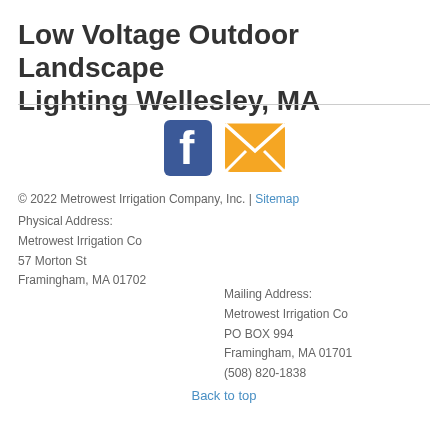Low Voltage Outdoor Landscape Lighting Wellesley, MA
[Figure (illustration): Facebook icon (blue F logo) and email/envelope icon (orange envelope) displayed as social/contact links]
© 2022 Metrowest Irrigation Company, Inc. | Sitemap
Physical Address:
Metrowest Irrigation Co
57 Morton St
Framingham, MA 01702
Mailing Address:
Metrowest Irrigation Co
PO BOX 994
Framingham, MA 01701
(508) 820-1838
Back to top